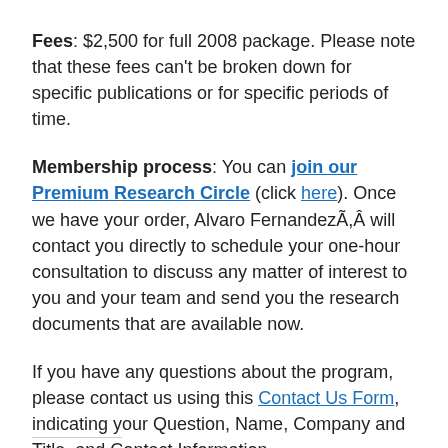Fees: $2,500 for full 2008 package. Please note that these fees can't be broken down for specific publications or for specific periods of time.
Membership process: You can join our Premium Research Circle (click here). Once we have your order, Alvaro FernandezÃ,Â will contact you directly to schedule your one-hour consultation to discuss any matter of interest to you and your team and send you the research documents that are available now.
If you have any questions about the program, please contact us using this Contact Us Form, indicating your Question, Name, Company and Title, and Contact Information.